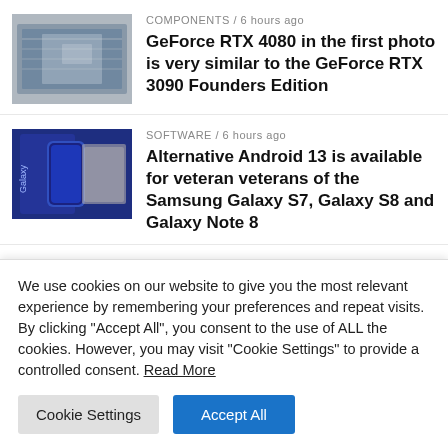[Figure (photo): Thumbnail photo of a GeForce RTX GPU wrapped in plastic/metal packaging]
COMPONENTS / 6 hours ago
GeForce RTX 4080 in the first photo is very similar to the GeForce RTX 3090 Founders Edition
[Figure (photo): Thumbnail photo of a Samsung Galaxy smartphone in a blue box]
SOFTWARE / 6 hours ago
Alternative Android 13 is available for veteran veterans of the Samsung Galaxy S7, Galaxy S8 and Galaxy Note 8
[Figure (photo): Partial thumbnail of a hand holding a phone]
PHONES / 6 hours ago
We use cookies on our website to give you the most relevant experience by remembering your preferences and repeat visits. By clicking "Accept All", you consent to the use of ALL the cookies. However, you may visit "Cookie Settings" to provide a controlled consent. Read More